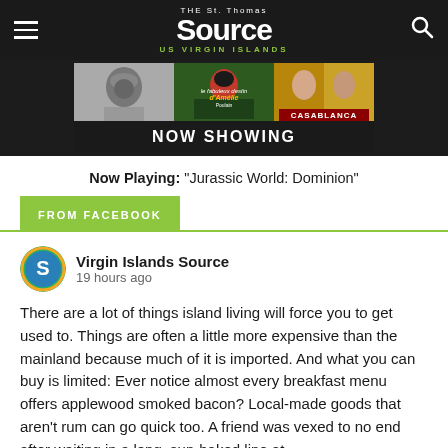THE St. Thomas SOURCE US VIRGIN ISLANDS
[Figure (photo): Movie advertisement banner showing film posters (Eraserhead, Amélie, Casablanca) with NOW SHOWING text]
Now Playing: “Jurassic World: Dominion”
FROM FACEBOOK
Virgin Islands Source
19 hours ago
There are a lot of things island living will force you to get used to. Things are often a little more expensive than the mainland because much of it is imported. And what you can buy is limited: Ever notice almost every breakfast menu offers applewood smoked bacon? Local-made goods that aren’t rum can go quick too. A friend was vexed to no end after waiting in a long, sun-baked line at